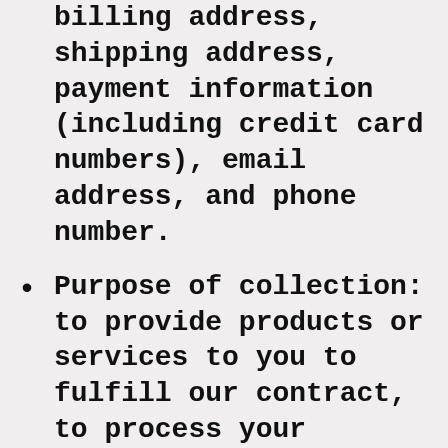billing address, shipping address, payment information (including credit card numbers), email address, and phone number.
Purpose of collection: to provide products or services to you to fulfill our contract, to process your payment information, arrange for shipping, and provide you with invoices and/or order confirmations, communicate with you, screen our orders for potential risk or fraud, and when in line with the preferences you have shared with us, provide you